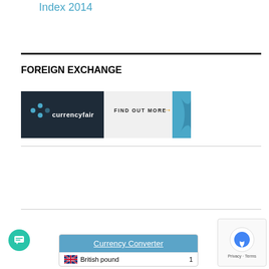Index 2014
FOREIGN EXCHANGE
[Figure (other): CurrencyFair banner advertisement with logo on dark background left, 'FIND OUT MORE' with orange arrow in center, and teal decorative element on right]
[Figure (screenshot): Currency Converter widget showing British pound input with value 1]
[Figure (other): reCAPTCHA widget showing Privacy - Terms]